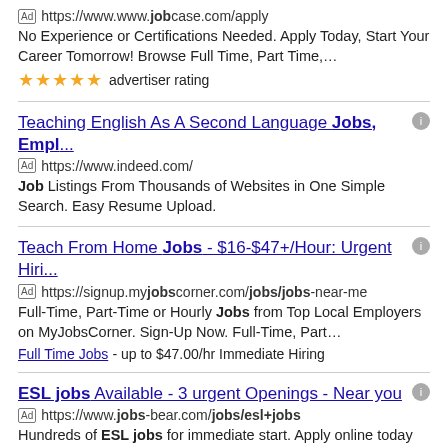Ad https://www.jobcase.com/apply
No Experience or Certifications Needed. Apply Today, Start Your Career Tomorrow! Browse Full Time, Part Time,…
★★★★★ advertiser rating
Teaching English As A Second Language Jobs, Empl... [Ad] https://www.indeed.com/
Job Listings From Thousands of Websites in One Simple Search. Easy Resume Upload.
Teach From Home Jobs - $16-$47+/Hour: Urgent Hiri... [Ad] https://signup.myjobscorner.com/jobs/jobs-near-me
Full-Time, Part-Time or Hourly Jobs from Top Local Employers on MyJobsCorner. Sign-Up Now. Full-Time, Part…
Full Time Jobs - up to $47.00/hr Immediate Hiring
ESL jobs Available - 3 urgent Openings - Near you [Ad] https://www.jobs-bear.com/jobs/esl+jobs
Hundreds of ESL jobs for immediate start. Apply online today